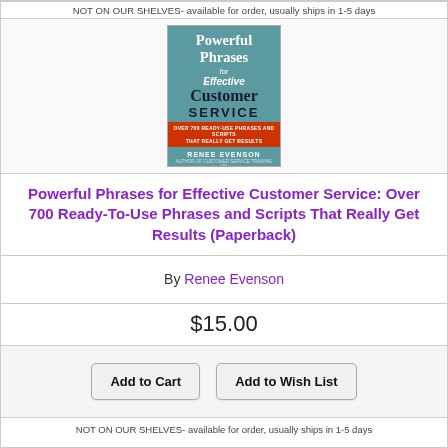NOT ON OUR SHELVES- available for order, usually ships in 1-5 days
[Figure (illustration): Book cover of 'Powerful Phrases for Effective Customer Service' by Renee Evenson, teal/blue cover with red banner]
Powerful Phrases for Effective Customer Service: Over 700 Ready-To-Use Phrases and Scripts That Really Get Results (Paperback)
By Renee Evenson
$15.00
Add to Cart   Add to Wish List
NOT ON OUR SHELVES- available for order, usually ships in 1-5 days